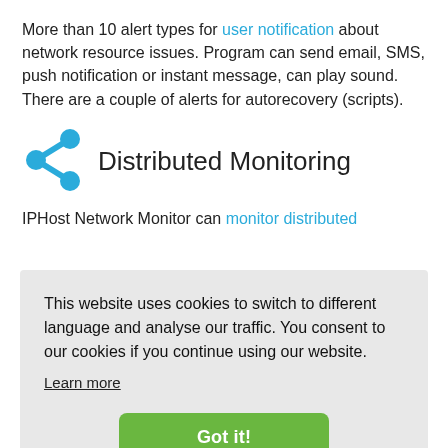More than 10 alert types for user notification about network resource issues. Program can send email, SMS, push notification or instant message, can play sound. There are a couple of alerts for autorecovery (scripts).
Distributed Monitoring
IPHost Network Monitor can monitor distributed
This website uses cookies to switch to different language and analyse our traffic. You consent to our cookies if you continue using our website.
Learn more
Got it!
n 2
minutes. Program is easy to use so you can configure